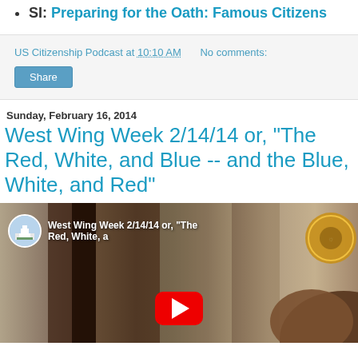SI: Preparing for the Oath: Famous Citizens
US Citizenship Podcast at 10:10 AM   No comments:
Share
Sunday, February 16, 2014
West Wing Week 2/14/14 or, "The Red, White, and Blue -- and the Blue, White, and Red"
[Figure (screenshot): YouTube video thumbnail for West Wing Week 2/14/14 showing interior of Air Force One with presidential seal and YouTube play button overlay]